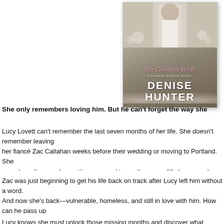[Figure (illustration): Book cover of 'The Goodbye Bride: A Summer Harbor Novel' by Denise Hunter, showing a figure in a white suit holding flowers with floral decorations]
She only remembers loving him. But he can't forget the way she
Lucy Lovett can't remember the last seven months of her life. She doesn't remember leaving her fiancé Zac Callahan weeks before their wedding or moving to Portland. She sure doesn't remember getting engaged to another man. All she remembers is loving Zac more than life itself.
Zac was just beginning to get his life back on track after Lucy left him without a word. And now she's back—vulnerable, homeless, and still in love with him. How can he pass up a second chance with the only woman who stirs his passion and haunts
Lucy knows she must unlock those missing months and discover wh